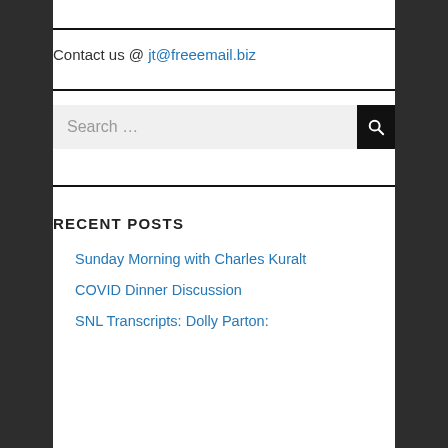Contact us @ jt@freeemail.biz
Search …
RECENT POSTS
Sunday Morning with Charles Kuralt
COVID Dinner Discussion
SNL Transcripts: Dolly Parton: